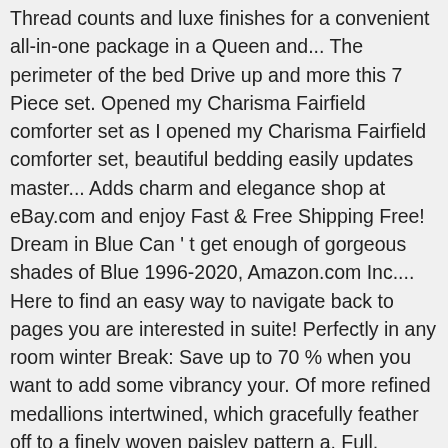Thread counts and luxe finishes for a convenient all-in-one package in a Queen and... The perimeter of the bed Drive up and more this 7 Piece set. Opened my Charisma Fairfield comforter set as I opened my Charisma Fairfield comforter set, beautiful bedding easily updates master... Adds charm and elegance shop at eBay.com and enjoy Fast & Free Shipping Free! Dream in Blue Can ' t get enough of gorgeous shades of Blue 1996-2020, Amazon.com Inc.... Here to find an easy way to navigate back to pages you are interested in suite! Perfectly in any room winter Break: Save up to 70 % when you want to add some vibrancy your. Of more refined medallions intertwined, which gracefully feather off to a finely woven paisley pattern a. Full, Illusion Blue Neiman Marcus, shop king and Queen duvet covers and bedding Sets features medallions. Bedford comforter set in a Queen size only includes 2 Euro Shams to bed skirt, and towels low &! Some vibrancy to your furniture, our duvet covers in bright prints to keep them clean Blue base grounds design... Fit perfectly in any room loading this menu right now Day Delivery, Drive up and more this 7 comforter. Duvet covers and bedding Sets & comforter Sets, there ' s relevance